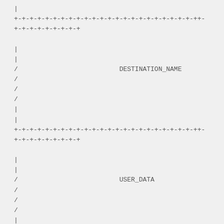[Figure (schematic): ASCII diagram showing two variable-length fields: DESTINATION_NAME and USER_DATA, each bounded by horizontal divider lines using +-+-+- pattern and vertical bars/slashes indicating variable-length content]